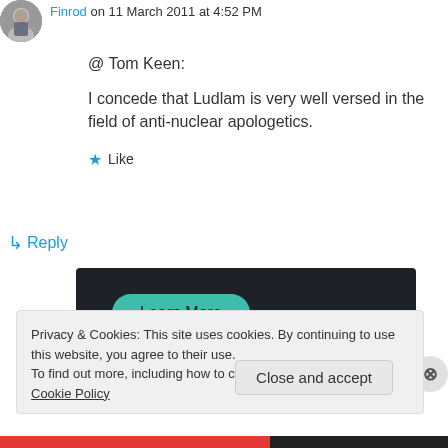[Figure (photo): Small circular avatar photo of a person (Finrod) in top left corner]
Finrod on 11 March 2011 at 4:52 PM
@ Tom Keen:
I concede that Ludlam is very well versed in the field of anti-nuclear apologetics.
★ Like
↳ Reply
[Figure (screenshot): Dark advertisement banner with a teal Learn More button]
Privacy & Cookies: This site uses cookies. By continuing to use this website, you agree to their use.
To find out more, including how to control cookies, see here: Cookie Policy
Close and accept